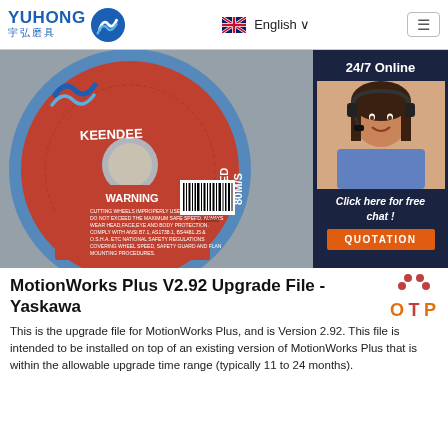YUHONG 宇弘磨具 | English | Menu
[Figure (photo): Yuhong / Keendee branded cutting disc/grinding wheel shown face-on with red surface and blue edge, marked SPEED 80M/S, WARNING text visible. Overlaid with a 24/7 Online chat widget showing a customer service representative wearing a headset, with 'Click here for free chat!' and an orange QUOTATION button.]
MotionWorks Plus V2.92 Upgrade File - Yaskawa
This is the upgrade file for MotionWorks Plus, and is Version 2.92. This file is intended to be installed on top of an existing version of MotionWorks Plus that is within the allowable upgrade time range (typically 11 to 24 months).